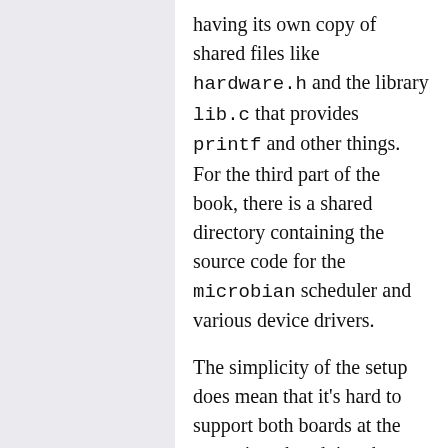having its own copy of shared files like hardware.h and the library lib.c that provides printf and other things. For the third part of the book, there is a shared directory containing the source code for the microbian scheduler and various device drivers.
The simplicity of the setup does mean that it's hard to support both boards at the same time: but doing that more or less demands a setup with separate source directories for the common parts of the code and for the files specific to each board, separate build directories for the boards, and Makefiles that include